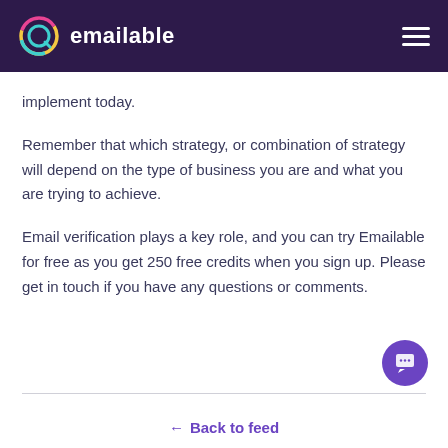emailable
implement today.
Remember that which strategy, or combination of strategy will depend on the type of business you are and what you are trying to achieve.
Email verification plays a key role, and you can try Emailable for free as you get 250 free credits when you sign up. Please get in touch if you have any questions or comments.
← Back to feed